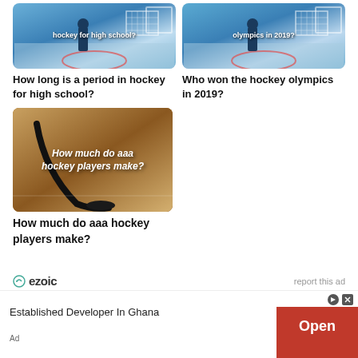[Figure (photo): Hockey player at goal crease on ice rink with text overlay 'hockey for high school?']
[Figure (photo): Hockey player at goal crease on ice rink with text overlay 'olympics in 2019?']
How long is a period in hockey for high school?
Who won the hockey olympics in 2019?
[Figure (photo): Hockey stick and puck on ice with text overlay 'How much do aaa hockey players make?']
How much do aaa hockey players make?
ezoic   report this ad
Established Developer In Ghana   Open   Ad